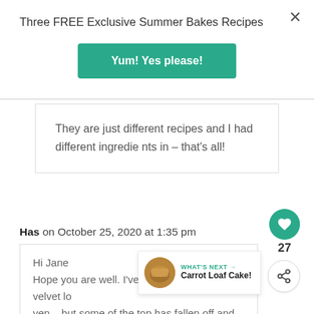Three FREE Exclusive Summer Bakes Recipes
Yum! Yes please!
They are just different recipes and I had different ingredients in – that's all!
Has on October 25, 2020 at 1:35 pm
27
Hi Jane
Hope you are well. I've just got your red velvet lo ven – but some of the top has fallen off and exploded! I have a
WHAT'S NEXT → Carrot Loaf Cake!